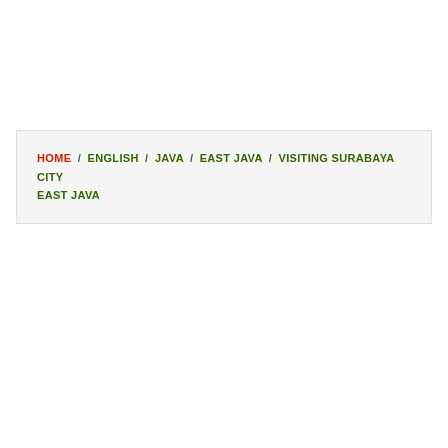HOME / ENGLISH / JAVA / EAST JAVA / VISITING SURABAYA CITY EAST JAVA